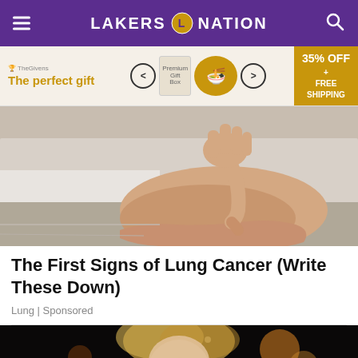LAKERS NATION
[Figure (screenshot): Advertisement banner: 'The perfect gift' with product images and '35% OFF + FREE SHIPPING']
[Figure (photo): Close-up photo of a person's hand pointing at an ankle/leg, lying on white towels]
The First Signs of Lung Cancer (Write These Down)
Lung | Sponsored
[Figure (photo): Partial image of a blonde woman at what appears to be an event with warm lights in background]